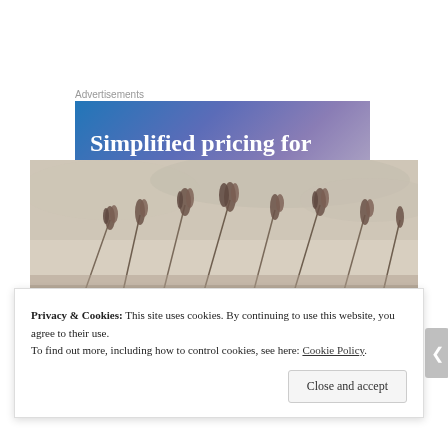Advertisements
[Figure (illustration): Advertisement banner with blue-to-purple gradient background and white bold text reading 'Simplified pricing for']
[Figure (photo): Photograph of wild grass or wheat stalks with seed heads against a pale beige/grey sky background, warm vintage tone]
Privacy & Cookies: This site uses cookies. By continuing to use this website, you agree to their use.
To find out more, including how to control cookies, see here: Cookie Policy
Close and accept